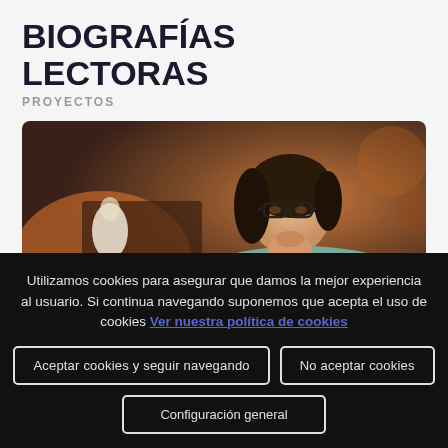BIOGRAFÍAS LECTORAS
PROYECTOS
[Figure (photo): Woman with glasses resting her chin on her hand, sitting in a cafe, thinking or reading, warm bokeh background]
Leer más >
Utilizamos cookies para asegurar que damos la mejor experiencia al usuario. Si continua navegando suponemos que acepta el uso de cookies Ver nuestra política de cookies
Aceptar cookies y seguir navegando
No aceptar cookies
Configuración general